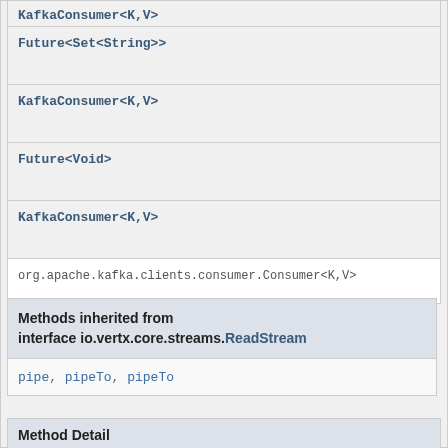KafkaConsumer<K,V>
Future<Set<String>>
KafkaConsumer<K,V>
Future<Void>
KafkaConsumer<K,V>
org.apache.kafka.clients.consumer.Consumer<K,V>
Methods inherited from interface io.vertx.core.streams.ReadStream
pipe, pipeTo, pipeTo
Method Detail